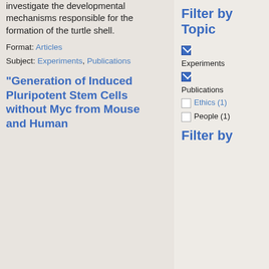investigate the developmental mechanisms responsible for the formation of the turtle shell.
Format: Articles
Subject: Experiments, Publications
"Generation of Induced Pluripotent Stem Cells without Myc from Mouse and Human
Filter by Topic
Experiments
Publications
Ethics (1)
People (1)
Filter by